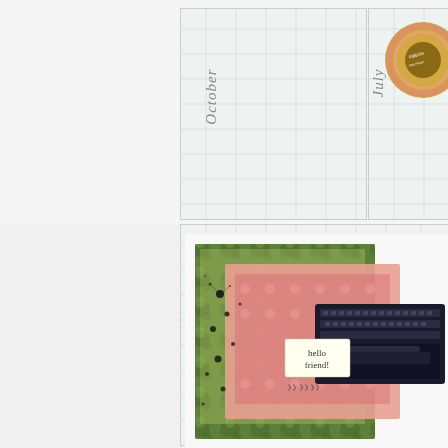[Figure (photo): Craft/scrapbooking layout showing two planner or journal spreads. Top half shows an 'October' calendar grid page (rotated label on left) and a 'July' calendar grid page (right side), with a spool of pink/coral ribbon in the upper right corner. Bottom half shows a 'November' planner page with a decorative scrapbook collage featuring floral green patterned paper, pink polka dot paper, ink splatters, and a vintage typewriter stamp with 'hello friend!' text tag.]